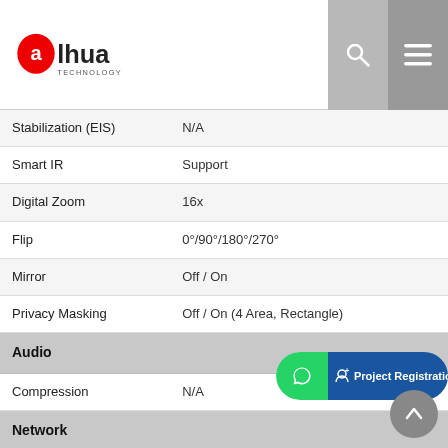[Figure (logo): Dahua Technology logo — red circle with 'alhua' text and TECHNOLOGY subtitle]
| Feature | Value |
| --- | --- |
| Stabilization (EIS) | N/A |
| Smart IR | Support |
| Digital Zoom | 16x |
| Flip | 0°/90°/180°/270° |
| Mirror | Off / On |
| Privacy Masking | Off / On (4 Area, Rectangle) |
| Audio |  |
| Compression | N/A |
| Network |  |
| Ethernet | RJ-45 (10/100Base-T) |
| Protocol | HTTP;TCP;DNS;NTP;Mu... |
| Interoperability | ONVIF Profile S |
| Streaming Method | Unicast / Multicast |
| Max. User Access | 10 Users/20 Users |
| Edge Storage | N/A |
[Figure (screenshot): Green WhatsApp button and blue Project Registration bar overlay at bottom of page]
[Figure (screenshot): Grey scroll-to-top circular button at bottom right]